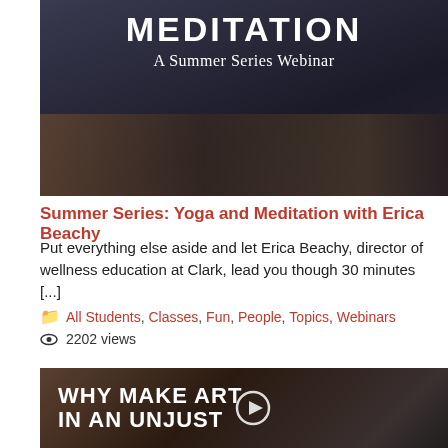[Figure (screenshot): Thumbnail image for yoga and meditation webinar with text 'MEDITATION A Summer Series Webinar' over dark background with person doing yoga]
Summer Series: Yoga and Meditation with Erica Beachy
Put everything else aside and let Erica Beachy, director of wellness education at Clark, lead you though 30 minutes [...]
All Students, Classes, Fun, People, Topics, Webinars
2202 views
[Figure (screenshot): Thumbnail image with text 'WHY MAKE ART IN AN UNJUST WORLD?' over two people in dark background]